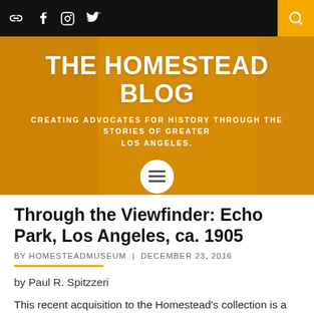THE HOMESTEAD BLOG — CREATING ADVOCATES FOR HISTORY THROUGH THE STORIES OF GREATER LOS ANGELES.
[Figure (screenshot): Blog header banner with golden/amber background, social media icons (link, Facebook, Instagram, Twitter) in black navigation bar, search button in orange, large white bold title 'THE HOMESTEAD BLOG', subtitle text, and circular menu button]
Through the Viewfinder: Echo Park, Los Angeles, ca. 1905
BY HOMESTEADMUSEUM | DECEMBER 23, 2016
by Paul R. Spitzzeri
This recent acquisition to the Homestead's collection is a cabinet photograph that shows a very rural and